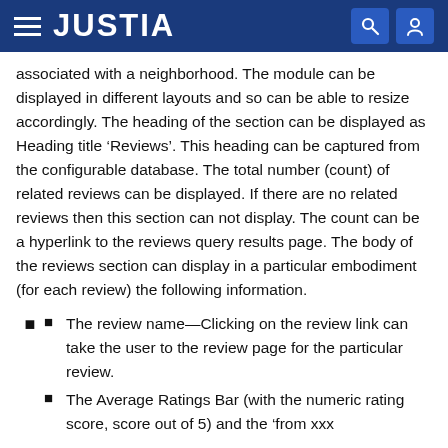JUSTIA
associated with a neighborhood. The module can be displayed in different layouts and so can be able to resize accordingly. The heading of the section can be displayed as Heading title ‘Reviews’. This heading can be captured from the configurable database. The total number (count) of related reviews can be displayed. If there are no related reviews then this section can not display. The count can be a hyperlink to the reviews query results page. The body of the reviews section can display in a particular embodiment (for each review) the following information.
The review name—Clicking on the review link can take the user to the review page for the particular review.
The Average Ratings Bar (with the numeric rating score, score out of 5) and the ‘from xxx